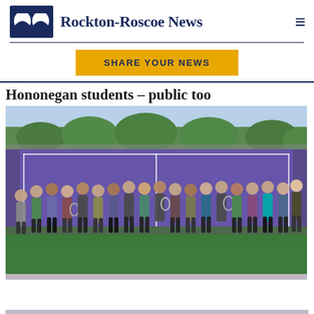Rockton-Roscoe News
SHARE YOUR NEWS
Hononegan students – public too
[Figure (photo): Group photo of approximately 25 female students holding tennis rackets, standing on a purple and green tennis court outdoors, with trees and tennis court fencing visible in the background.]